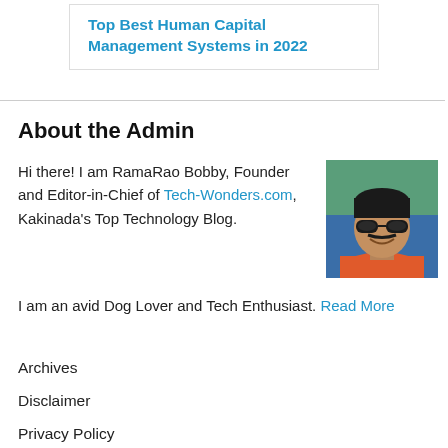Top Best Human Capital Management Systems in 2022
About the Admin
Hi there! I am RamaRao Bobby, Founder and Editor-in-Chief of Tech-Wonders.com, Kakinada's Top Technology Blog.
[Figure (photo): Photo of RamaRao Bobby, a man wearing sunglasses and a red shirt, smiling]
I am an avid Dog Lover and Tech Enthusiast. Read More
Archives
Disclaimer
Privacy Policy